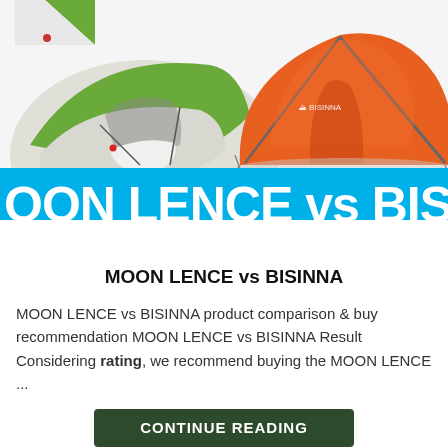[Figure (photo): Two camping tents side by side: a green/white MOON LENCE tent on the left with open door, and an orange BISINNA tent on the right, with a cyan/blue banner overlay reading 'OON LENCE vs BISIN']
MOON LENCE vs BISINNA
MOON LENCE vs BISINNA product comparison & buy recommendation MOON LENCE vs BISINNA Result Considering rating, we recommend buying the MOON LENCE ...
CONTINUE READING